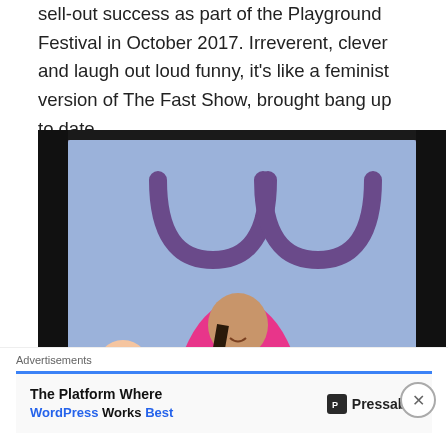sell-out success as part of the Playground Festival in October 2017. Irreverent, clever and laugh out loud funny, it's like a feminist version of The Fast Show, brought bang up to date.
[Figure (photo): Three women in bright pink jumpsuits hugging and smiling on a dark stage with a blue/purple backdrop showing a symbol. One woman in the centre stands taller with long dark hair, while the other two lean in from either side. One of the women wears a sash reading 'FOR WOMEN'.]
Advertisements
The Platform Where WordPress Works Best — Pressable